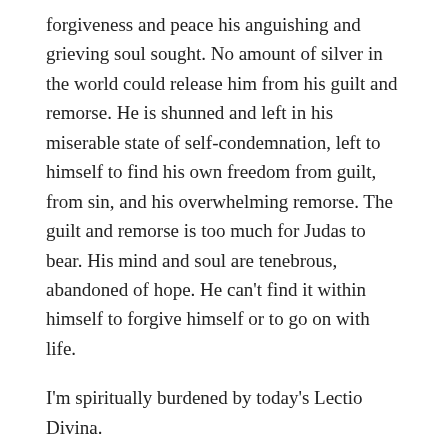forgiveness and peace his anguishing and grieving soul sought. No amount of silver in the world could release him from his guilt and remorse. He is shunned and left in his miserable state of self-condemnation, left to himself to find his own freedom from guilt, from sin, and his overwhelming remorse. The guilt and remorse is too much for Judas to bear. His mind and soul are tenebrous, abandoned of hope. He can’t find it within himself to forgive himself or to go on with life.
I’m spiritually burdened by today’s Lectio Divina.
I’m burdened for all the people inwardly